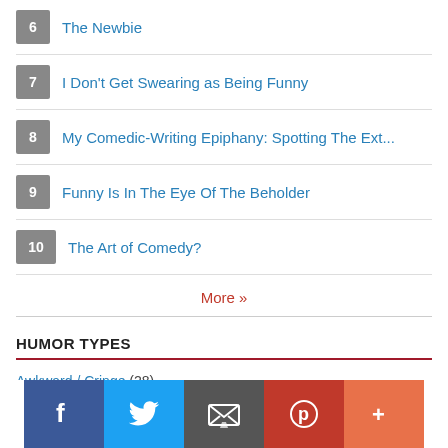6  The Newbie
7  I Don't Get Swearing as Being Funny
8  My Comedic-Writing Epiphany: Spotting The Ext...
9  Funny Is In The Eye Of The Beholder
10  The Art of Comedy?
More »
HUMOR TYPES
Awkward / Cringe (28)
Black / Dark (38)